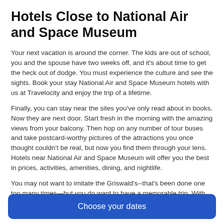Hotels Close to National Air and Space Museum
Your next vacation is around the corner. The kids are out of school, you and the spouse have two weeks off, and it's about time to get the heck out of dodge. You must experience the culture and see the sights. Book your stay National Air and Space Museum hotels with us at Travelocity and enjoy the trip of a lifetime.
Finally, you can stay near the sites you've only read about in books. Now they are next door. Start fresh in the morning with the amazing views from your balcony. Then hop on any number of tour buses and take postcard-worthy pictures of the attractions you once thought couldn't be real, but now you find them through your lens. Hotels near National Air and Space Museum will offer you the best in prices, activities, amenities, dining, and nightlife.
You may not want to imitate the Griswald's--that's been done one too many times—but you do want to have a memorable trip. With Travelocity's long list of cheap hotels near National Air and Space Museum, you're sure to find the perfect place to stay.
Choose your dates